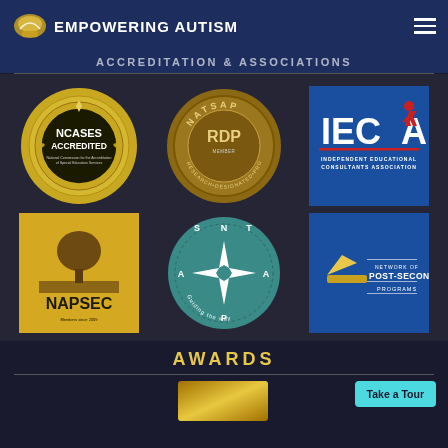Empowering Autism
ACCREDITATION & ASSOCIATIONS
[Figure (logo): NCASES Accredited gold circular seal - National Commission for the Accreditation of Special Education Services]
[Figure (logo): NATSAP RDP Research Designated Program bronze medallion seal]
[Figure (logo): IECA Independent Educational Consultants Association blue square logo with running figure]
[Figure (logo): NAPSEC yellow square logo with tree - National Association of Private Special Education Centers - Member since 2009]
[Figure (logo): NATSAP teal circular logo with compass star - Guiding the way]
[Figure (logo): Network of Post-Secondary Programs blue square logo]
AWARDS
[Figure (logo): Gold award badge at bottom]
Take a Tour